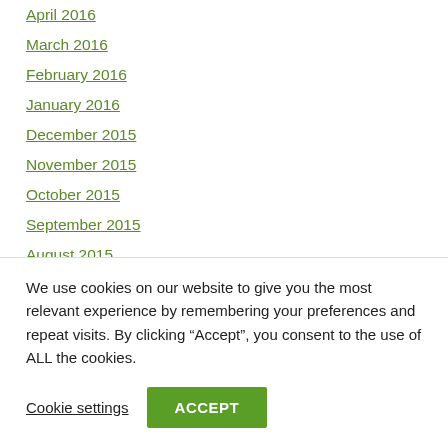April 2016
March 2016
February 2016
January 2016
December 2015
November 2015
October 2015
September 2015
August 2015
July 2015
June 2015
We use cookies on our website to give you the most relevant experience by remembering your preferences and repeat visits. By clicking “Accept”, you consent to the use of ALL the cookies.
Cookie settings
ACCEPT